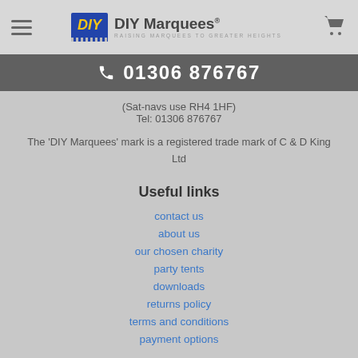DIY Marquees - RAISING MARQUEES TO GREATER HEIGHTS
01306 876767
(Sat-navs use RH4 1HF)
Tel: 01306 876767
The 'DIY Marquees' mark is a registered trade mark of C & D King Ltd
Useful links
contact us
about us
our chosen charity
party tents
downloads
returns policy
terms and conditions
payment options
Join the Conversation! Follow us on: